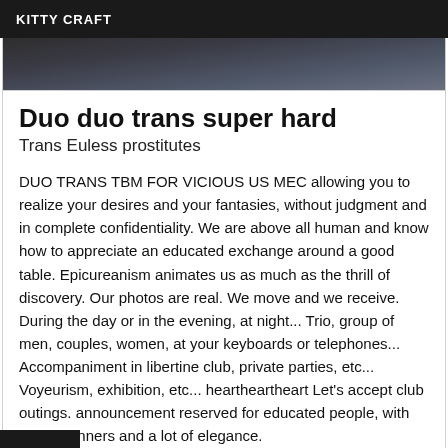KITTY CRAFT
[Figure (photo): Partial photo strip showing a dark blurred image, appears to be a person]
Duo duo trans super hard
Trans Euless prostitutes
DUO TRANS TBM FOR VICIOUS US MEC allowing you to realize your desires and your fantasies, without judgment and in complete confidentiality. We are above all human and know how to appreciate an educated exchange around a good table. Epicureanism animates us as much as the thrill of discovery. Our photos are real. We move and we receive. During the day or in the evening, at night... Trio, group of men, couples, women, at your keyboards or telephones... Accompaniment in libertine club, private parties, etc... Voyeurism, exhibition, etc... heartheartheart Let's accept club outings. announcement reserved for educated people, with good manners and a lot of elegance.